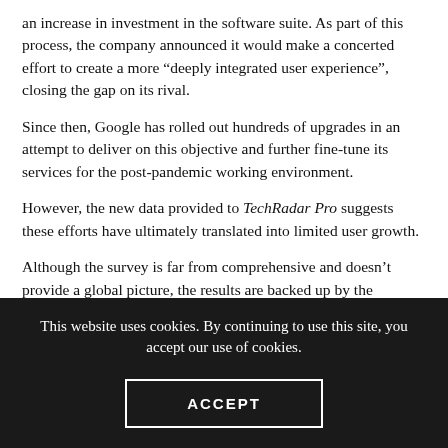an increase in investment in the software suite. As part of this process, the company announced it would make a concerted effort to create a more “deeply integrated user experience”, closing the gap on its rival.
Since then, Google has rolled out hundreds of upgrades in an attempt to deliver on this objective and further fine-tune its services for the post-pandemic working environment.
However, the new data provided to TechRadar Pro suggests these efforts have ultimately translated into limited user growth.
Although the survey is far from comprehensive and doesn’t provide a global picture, the results are backed up by the financials. In Q1 2022, Google’s cloud services (which includes
This website uses cookies. By continuing to use this site, you accept our use of cookies.
ACCEPT